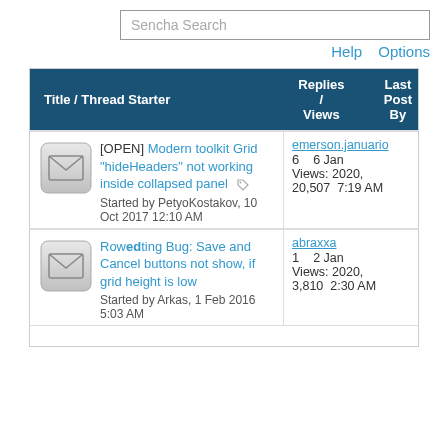Sencha Search
Help   Options
| Title / Thread Starter | Replies / Views | Last Post By |
| --- | --- | --- |
| [OPEN] Modern toolkit Grid "hideHeaders" not working inside collapsed panel
Started by PetyoKostakov, 10 Oct 2017 12:10 AM | 6
Views:
20,507 | emerson.januario
6 Jan
2020,
7:19 AM |
| Row edting Bug: Save and Cancel buttons not show, if grid height is low
Started by Arkas, 1 Feb 2016 5:03 AM | 1
Views:
3,810 | abraxxa
2 Jan
2020,
2:30 AM |